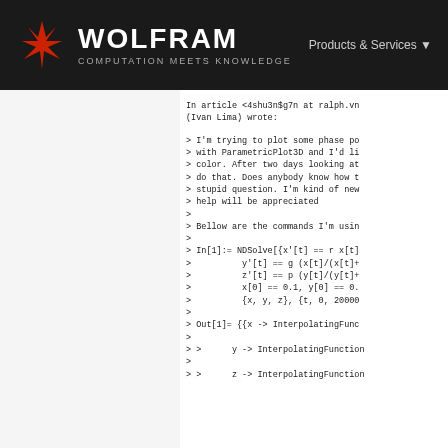WOLFRAM COMPUTATION MEETS KNOWLEDGE | Products & Services
In article <4shu3n$g7n at ralph.vn (Ivan Lima) wrote:
> I'm trying to plot some phase po
> with ParametricPlot3D and I'd li
> color. After two days looking at
> do that. Does anybody know how t
> stupid question. I'm kind of new
> help will be appreciated
>
> Bellow are the commands I'm usin
>
> In[1]:= NDSolve[{x'[t] == r x[t]
>          y'[t] == g (x[t]/(x[t]+
>          z'[t] == p (y[t]/(y[t]+
>          x[0] == 0.1, y[0] == 0.
>          {x, y, z}, {t, 0, 20000
>
> Out[1]= {{x -> InterpolatingFunc
>>
>> >      y -> InterpolatingFunction
>>
>> >      z -> InterpolatingFunction